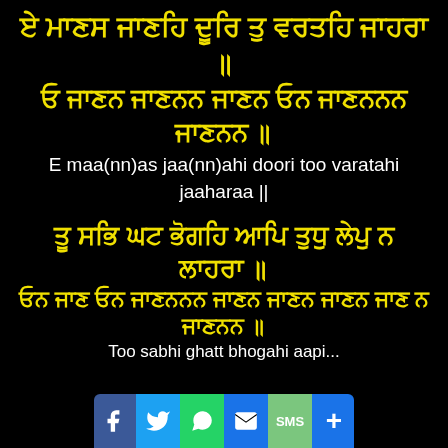ਏ ਮਾਣਸ ਜਾਣਹਿ ਦੂਰਿ ਤੁ ਵਰਤਹਿ ਜਾਹਰਾ ॥
ਓ ਜਾਣਨ ਜਾਣਨਨ ਜਾਣਨ ਓਨ ਜਾਣਨਨਨ ਜਾਣਨਨ ॥
E maa(nn)as jaa(nn)ahi doori too varatahi jaaharaa ||
ਤੂ ਸਭਿ ਘਟ ਭੋਗਹਿ ਆਪਿ ਤੁਧੁ ਲੇਪੁ ਨ ਲਾਹਰਾ ॥
ਓਨ ਜਾਣ ਓਨ ਜਾਣਨਨਨ ਜਾਣਨ ਜਾਣਨ ਜਾਣਨ ਜਾਣ ਨ ਜਾਣਨਨ ॥
Too sabhi ghatt bhogahi aapi tudhu laepu n laaharaa ||
[Figure (infographic): Social media sharing bar at bottom with Facebook, Twitter, WhatsApp, Email, SMS, and Plus icons]